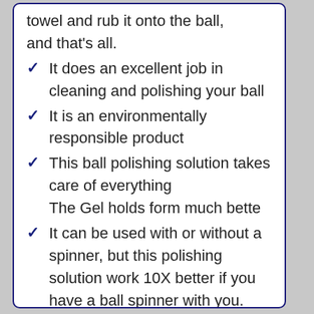towel and rub it onto the ball, and that's all.
It does an excellent job in cleaning and polishing your ball
It is an environmentally responsible product
This ball polishing solution takes care of everything
The Gel holds form much bette
It can be used with or without a spinner, but this polishing solution work 10X better if you have a ball spinner with you.